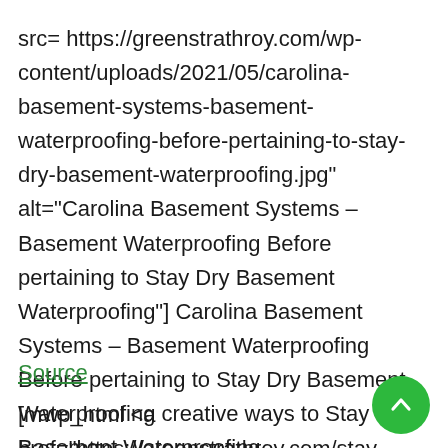src= https://greenstrathroy.com/wp-content/uploads/2021/05/carolina-basement-systems-basement-waterproofing-before-pertaining-to-stay-dry-basement-waterproofing.jpg" alt="Carolina Basement Systems – Basement Waterproofing Before pertaining to Stay Dry Basement Waterproofing"] Carolina Basement Systems – Basement Waterproofing Before pertaining to Stay Dry Basement Waterproofing creative ways to Stay Dry Basement Waterproofing
Source
[mwp_html <a href="https://greenstrathroy.com/stay-dry-